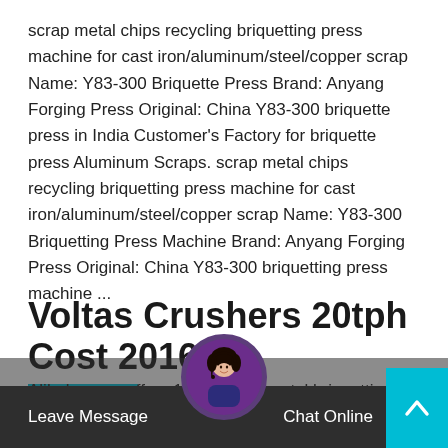scrap metal chips recycling briquetting press machine for cast iron/aluminum/steel/copper scrap Name: Y83-300 Briquette Press Brand: Anyang Forging Press Original: China Y83-300 briquette press in India Customer's Factory for briquette press Aluminum Scraps. scrap metal chips recycling briquetting press machine for cast iron/aluminum/steel/copper scrap Name: Y83-300 Briquetting Press Machine Brand: Anyang Forging Press Original: China Y83-300 briquetting press machine ...
Voltas Crushers 20tph Cost 2016
Alibaba.com offers 1,085 scrap metal briquetting products. About 3% of these are Briquette Machines, 10% are Other Metal & Metallurgy Machinery, and 3%